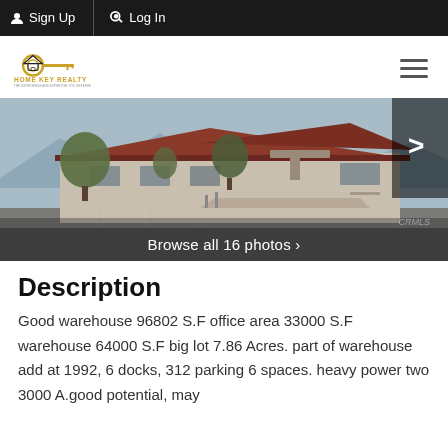Sign Up  Log In
[Figure (logo): Home Key Realty logo with key icon and company name]
[Figure (photo): Exterior photo of a commercial warehouse/office building with red tile roof, trees, ramp, and parking area. Arrow button for next photo on right side.]
Browse all 16 photos
Description
Good warehouse 96802 S.F office area 33000 S.F warehouse 64000 S.F big lot 7.86 Acres. part of warehouse add at 1992, 6 docks, 312 parking 6 spaces. heavy power two 3000 A.good potential, may